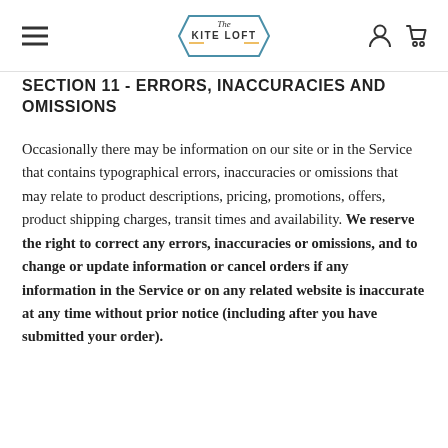The Kite Loft (logo with hamburger menu, user icon, cart icon)
SECTION 11 - ERRORS, INACCURACIES AND OMISSIONS
Occasionally there may be information on our site or in the Service that contains typographical errors, inaccuracies or omissions that may relate to product descriptions, pricing, promotions, offers, product shipping charges, transit times and availability. We reserve the right to correct any errors, inaccuracies or omissions, and to change or update information or cancel orders if any information in the Service or on any related website is inaccurate at any time without prior notice (including after you have submitted your order).